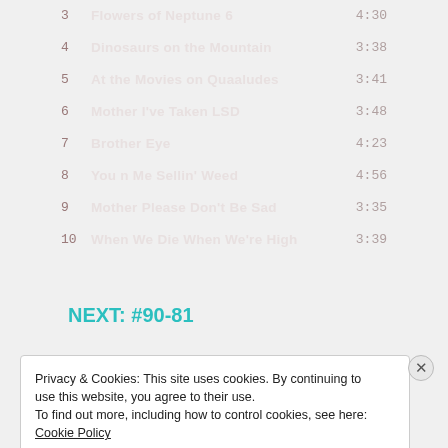| # | Title | Duration |
| --- | --- | --- |
| 3 | Flowers of Neptune 6 | 4:30 |
| 4 | Dinosaurs on the Mountain | 3:38 |
| 5 | At the Movies on Quaaludes | 3:41 |
| 6 | Mother I've Taken LSD | 3:48 |
| 7 | Brother Eye | 4:23 |
| 8 | You n Me Sellin' Weed | 4:56 |
| 9 | Mother Please Don't Be Sad | 3:35 |
| 10 | When We Die When We're High | 3:39 |
NEXT: #90-81
Privacy & Cookies: This site uses cookies. By continuing to use this website, you agree to their use.
To find out more, including how to control cookies, see here: Cookie Policy
Close and accept